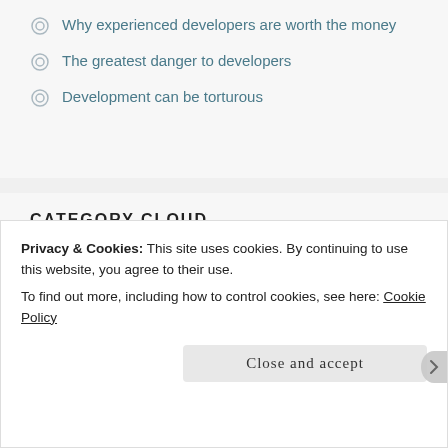Why experienced developers are worth the money
The greatest danger to developers
Development can be torturous
CATEGORY CLOUD
.NET  Certifications  CRM  CRM 4  CRM 2011  CRM
Privacy & Cookies: This site uses cookies. By continuing to use this website, you agree to their use.
To find out more, including how to control cookies, see here: Cookie Policy
Close and accept